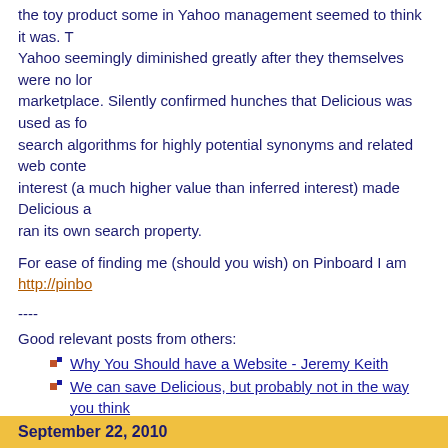the toy product some in Yahoo management seemed to think it was. T... Yahoo seemingly diminished greatly after they themselves were no lor... marketplace. Silently confirmed hunches that Delicious was used as fo... search algorithms for highly potential synonyms and related web conte... interest (a much higher value than inferred interest) made Delicious a ... ran its own search property.
For ease of finding me (should you wish) on Pinboard I am http://pinbo...
----
Good relevant posts from others:
Why You Should have a Website - Jeremy Keith
We can save Delicious, but probably not in the way you think
Delicious in Purgatory :: TechCrunch
Posted at 4:59 AM from Bethesda, Maryland.
Marked as :: Folksonomy :: InfoCloud :: Information Aggregation :: Info... Development :: RSS :: Social Software :: Standards :: Web Services ::
[perma link for: Closing Delicious? Lessons to be Learned ]
No Comments
September 22, 2010